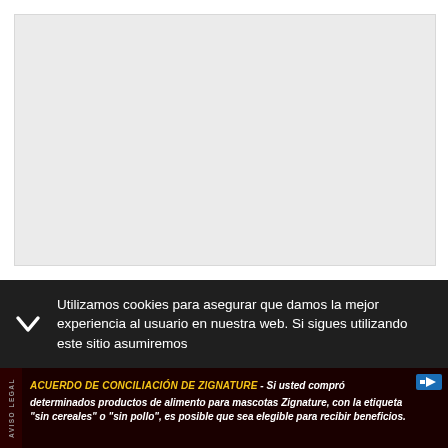[Figure (other): Large light gray placeholder image area at top of page]
Utilizamos cookies para asegurar que damos la mejor experiencia al usuario en nuestra web. Si sigues utilizando este sitio asumiremos
[Figure (infographic): Advertisement banner: ACUERDO DE CONCILIACIÓN DE ZIGNATURE - Si usted compró determinados productos de alimento para mascotas Zignature, con la etiqueta "sin cereales" o "sin pollo", es posible que sea elegible para recibir beneficios.]